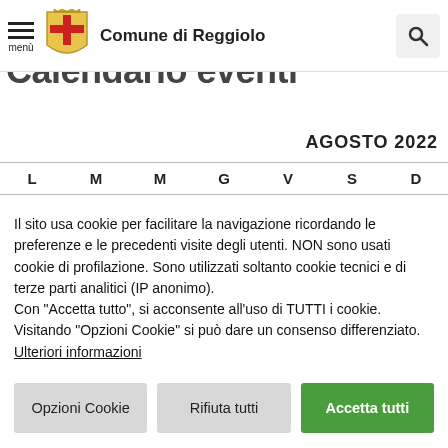Comune di Reggiolo
Calendario eventi
AGOSTO 2022
| L | M | M | G | V | S | D |
| --- | --- | --- | --- | --- | --- | --- |
Il sito usa cookie per facilitare la navigazione ricordando le preferenze e le precedenti visite degli utenti. NON sono usati cookie di profilazione. Sono utilizzati soltanto cookie tecnici e di terze parti analitici (IP anonimo).
Con "Accetta tutto", si acconsente all'uso di TUTTI i cookie. Visitando "Opzioni Cookie" si può dare un consenso differenziato.
Ulteriori informazioni
Opzioni Cookie | Rifiuta tutti | Accetta tutti